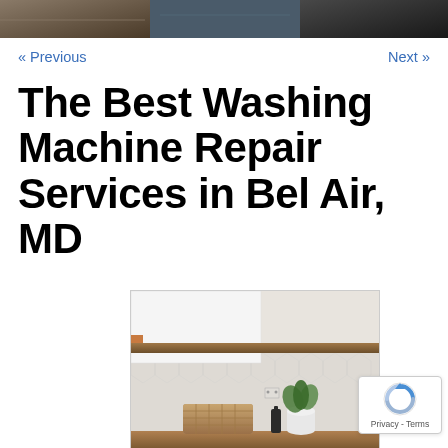[Figure (photo): Dark top image strip showing kitchen/laundry room shelving in dark tones]
« Previous    Next »
The Best Washing Machine Repair Services in Bel Air, MD
[Figure (photo): Interior photo of a laundry/utility room with wooden shelves, white upper cabinet, hexagonal tile backsplash, wicker basket, potted plant, and wooden countertop]
[Figure (other): reCAPTCHA badge with blue/grey arrow icon and Privacy - Terms text]